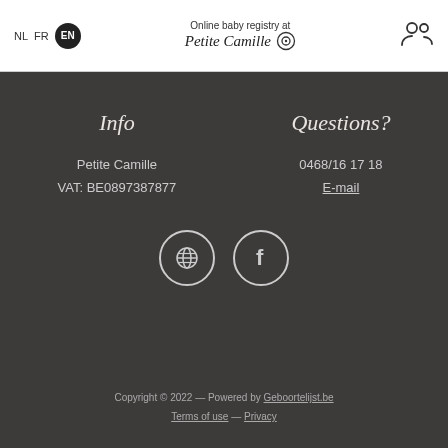NL FR EN | Online baby registry at Petite Camille
Info
Petite Camille
VAT: BE0897387877
Questions?
0468/16 17 18
E-mail
[Figure (illustration): Two social media circular icons: an Instagram/globe icon and a Facebook icon, both outlined in white on dark background]
Copyright © 2022 — Powered by Geboortelijst.be
Terms of use — Privacy